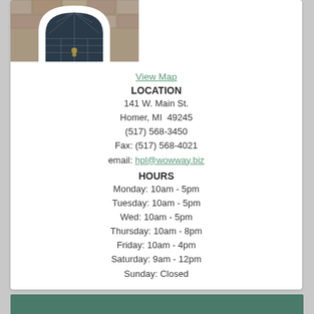[Figure (photo): Arched window/door entrance of a building with dark glass panes and stone surroundings]
View Map
LOCATION
141 W. Main St.
Homer, MI  49245
(517) 568-3450
Fax: (517) 568-4021
email: hpl@wowway.biz
HOURS
Monday: 10am - 5pm
Tuesday: 10am - 5pm
Wed: 10am - 5pm
Thursday: 10am - 8pm
Friday: 10am - 4pm
Saturday: 9am - 12pm
Sunday: Closed